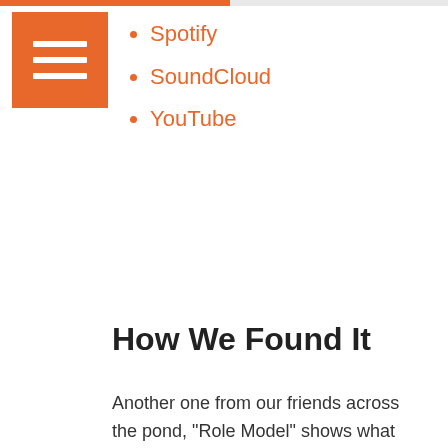Spotify
SoundCloud
YouTube
How We Found It
Another one from our friends across the pond, “Role Model” shows what can be accomplished when music builds an environment for the listener. 26-year-old Broughton landed a hit in our SubmitHub inbox from Gatwik, England. The song is produced by Beatstars.